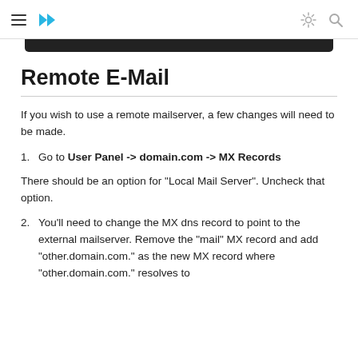Remote E-Mail documentation page header with hamburger menu, arrow logo, sun icon, search icon
Remote E-Mail
If you wish to use a remote mailserver, a few changes will need to be made.
1. Go to User Panel -> domain.com -> MX Records
There should be an option for "Local Mail Server". Uncheck that option.
2. You'll need to change the MX dns record to point to the external mailserver. Remove the "mail" MX record and add "other.domain.com." as the new MX record where "other.domain.com." resolves to